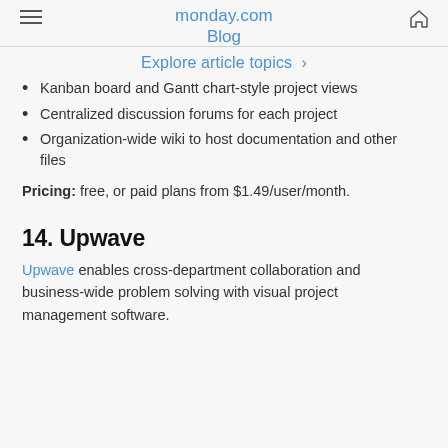monday.com Blog
Explore article topics >
Kanban board and Gantt chart-style project views
Centralized discussion forums for each project
Organization-wide wiki to host documentation and other files
Pricing: free, or paid plans from $1.49/user/month.
14. Upwave
Upwave enables cross-department collaboration and business-wide problem solving with visual project management software.